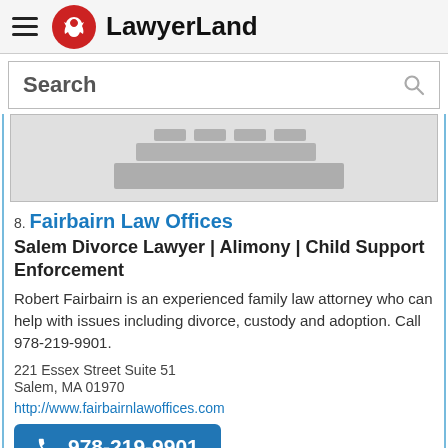LawyerLand
Search
[Figure (illustration): Grayscale map/location illustration with stacked building-like shapes]
8. Fairbairn Law Offices
Salem Divorce Lawyer | Alimony | Child Support Enforcement
Robert Fairbairn is an experienced family law attorney who can help with issues including divorce, custody and adoption. Call 978-219-9901.
221 Essex Street Suite 51
Salem, MA 01970
http://www.fairbairnlawoffices.com
978-219-9901